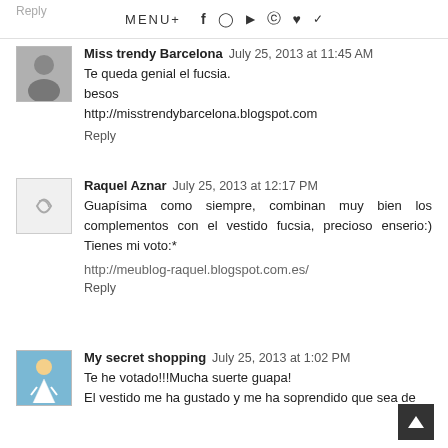Reply  MENU+  [social icons: f, instagram, youtube, pinterest, heart, twitter]
Miss trendy Barcelona  July 25, 2013 at 11:45 AM
Te queda genial el fucsia.
besos
http://misstrendybarcelona.blogspot.com
Reply
Raquel Aznar  July 25, 2013 at 12:17 PM
Guapísima como siempre, combinan muy bien los complementos con el vestido fucsia, precioso enserio:) Tienes mi voto:*
http://meublog-raquel.blogspot.com.es/
Reply
My secret shopping  July 25, 2013 at 1:02 PM
Te he votado!!!Mucha suerte guapa!
El vestido me ha gustado y me ha soprendido que sea de